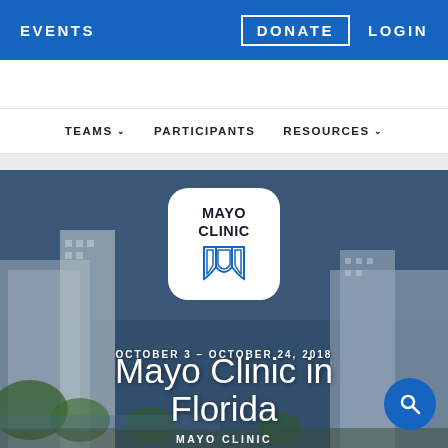EVENTS   DONATE   LOGIN
TEAMS   PARTICIPANTS   RESOURCES
[Figure (screenshot): Mayo Clinic in Florida event page hero image showing Mayo Clinic logo on a white rounded square over a photograph of buildings, with date text OCTOBER 3 - OCTOBER 24, 2018 and title Mayo Clinic in Florida, with a blue search button in the bottom right corner]
Mayo Clinic in Florida
OCTOBER 3 - OCTOBER 24, 2018
MAYO CLINIC